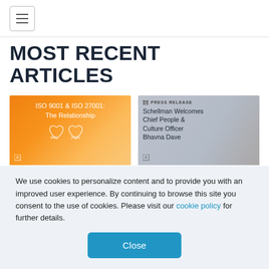Navigation menu
MOST RECENT ARTICLES
[Figure (illustration): Orange gradient card with text 'ISO 9001 & ISO 27001: The Relationship' and two overlapping heart shapes labeled 9001 and 27001]
ISO 9001 and ISO 27001:
[Figure (photo): Press release card with text 'Schellman Welcomes Chief People & Culture Officer Bhavna Dave' over a blurred background photo]
Schellman Appo
We use cookies to personalize content and to provide you with an improved user experience. By continuing to browse this site you consent to the use of cookies. Please visit our cookie policy for further details.